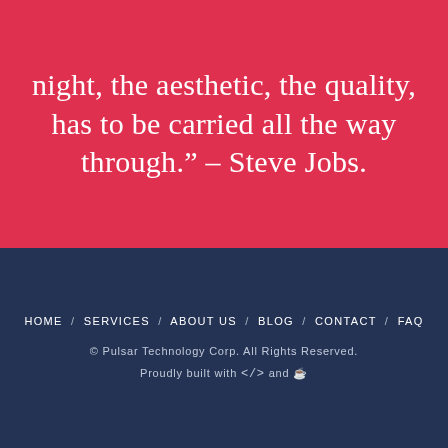night, the aesthetic, the quality, has to be carried all the way through." – Steve Jobs.
HOME / SERVICES / ABOUT US / BLOG / CONTACT / FAQ
© Pulsar Technology Corp. All Rights Reserved.
Proudly built with </> and ☕